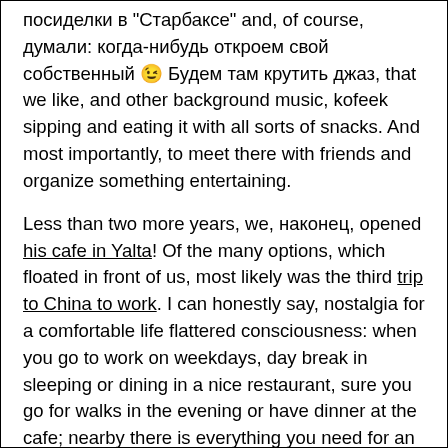посиделки в "Старбаксе" and, of course, думали: когда-нибудь откроем свой собственный 😉 Будем там крутить джаз, that we like, and other background music, kofeek sipping and eating it with all sorts of snacks. And most importantly, to meet there with friends and organize something entertaining.
Less than two more years, we, наконец, opened his cafe in Yalta! Of the many options, which floated in front of us, most likely was the third trip to China to work. I can honestly say, nostalgia for a comfortable life flattered consciousness: when you go to work on weekdays, day break in sleeping or dining in a nice restaurant, sure you go for walks in the evening or have dinner at the cafe; nearby there is everything you need for an active holiday, there is always a means to pleasure, and there are already a vacation close, and can to travel to a new place, where we still did not get.
All this and so does not disappear from the horizon – the opportunity to go to work in China remains, but the thirst